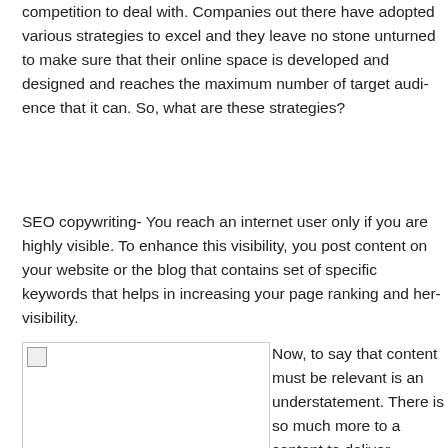competition to deal with. Companies out there have adopted various strategies to excel and they leave no stone unturned to make sure that their online space is developed and designed and reaches the maximum number of target audience that it can. So, what are these strategies?
SEO copywriting- You reach an internet user only if you are highly visible. To enhance this visibility, you post content on your website or the blog that contains set of specific keywords that helps in increasing your page ranking and hence visibility.
[Figure (photo): Image placeholder with broken image icon]
Now, to say that content must be relevant is an understatement. There is so much more to a content to deliver desired than just this. Well written SEO content is high on keyword density; it is relevant, efficient and has the power to engage readers. It speaks of sense and is more than a plain description.
Content writing for SEO needs to be exclusive and unique in order to ensure it achieves the targeted goals set b